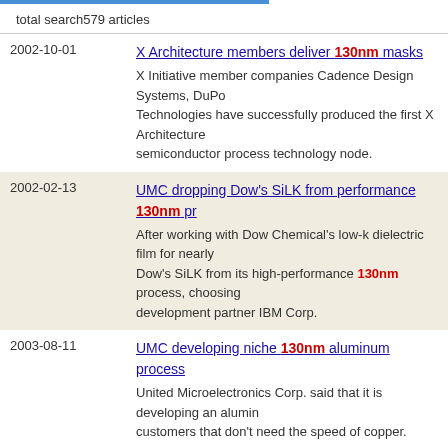total search 579 articles
2002-10-01 | X Architecture members deliver 130nm masks | X Initiative member companies Cadence Design Systems, DuPo Technologies have successfully produced the first X Architecture semiconductor process technology node.
2002-02-13 | UMC dropping Dow's SiLK from performance 130nm p... | After working with Dow Chemical's low-k dielectric film for nearly Dow's SiLK from its high-performance 130nm process, choosing development partner IBM Corp.
2003-08-11 | UMC developing niche 130nm aluminum process | United Microelectronics Corp. said that it is developing an alumin customers that don't need the speed of copper.
2002-06-18 | Trouble at 130nm node causes finger pointing | null
2010-10-14 | Tower integrates MRAM in 130nm CMOS | Tower Semiconductor has integrated a thermally assisted switch from Crocus Technology into its 130nm CMOS manufacturing p...
2002-08-12 | Toshiba offers 130nm process as foundry service | Toshiba Corp. will offer its 130nm copper process line to third-pa...
2006-09-07 | Synopsys unveils connectivity IP for CMOS 130nm te...